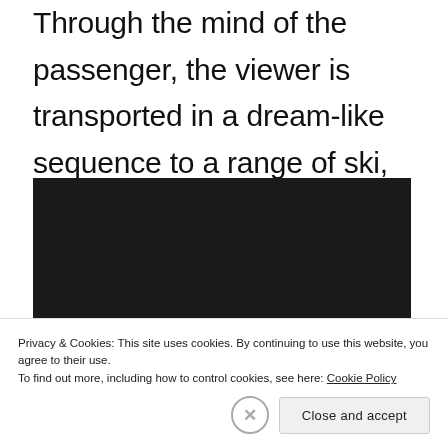Through the mind of the passenger, the viewer is transported in a dream-like sequence to a range of ski, beach and city destinations, interwoven with easyJet's signature colour orange.
[Figure (screenshot): Dark/black video player embed area]
Privacy & Cookies: This site uses cookies. By continuing to use this website, you agree to their use.
To find out more, including how to control cookies, see here: Cookie Policy
Close and accept